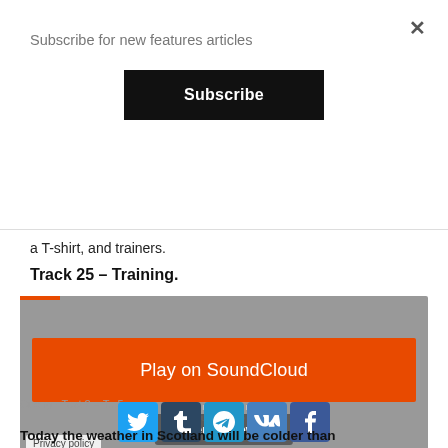Subscribe for new features articles
Subscribe
a T-shirt, and trainers.
Track 25 – Training.
[Figure (screenshot): SoundCloud embedded audio player with orange Play on SoundCloud button, Listen in browser button, and Privacy policy label]
Cuong · Test 2 – T...5
Today the weather in Scotland will be colder than